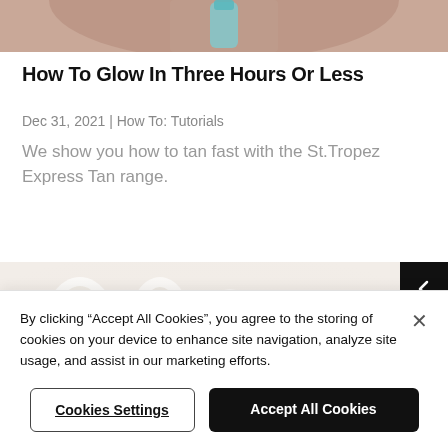[Figure (photo): Cropped image of a person holding a St.Tropez product at the top of the page]
How To Glow In Three Hours Or Less
Dec 31, 2021 | How To: Tutorials
We show you how to tan fast with the St.Tropez Express Tan range.
[Figure (photo): Blurred/soft-focus image of St.Tropez product bottles on a light background]
By clicking “Accept All Cookies”, you agree to the storing of cookies on your device to enhance site navigation, analyze site usage, and assist in our marketing efforts.
Cookies Settings
Accept All Cookies